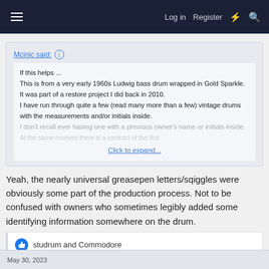Log in  Register
Mcjnic said:
If this helps ...
This is from a very early 1960s Ludwig bass drum wrapped in Gold Sparkle.
It was part of a restore project I did back in 2010.
I have run through quite a few (read many more than a few) vintage drums with the measurements and/or initials inside.
I don't recall ever having one with a previous owner's name or initials inside.
Click to expand...
Yeah, the nearly universal greasepen letters/sqiggles were obviously some part of the production process. Not to be confused with owners who sometimes legibly added some identifying information somewhere on the drum.
studrum and Commodore